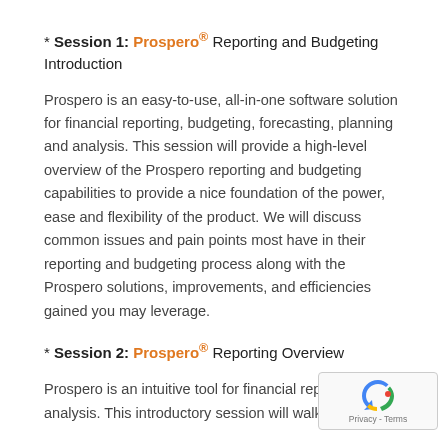* Session 1: Prospero® Reporting and Budgeting Introduction
Prospero is an easy-to-use, all-in-one software solution for financial reporting, budgeting, forecasting, planning and analysis. This session will provide a high-level overview of the Prospero reporting and budgeting capabilities to provide a nice foundation of the power, ease and flexibility of the product. We will discuss common issues and pain points most have in their reporting and budgeting process along with the Prospero solutions, improvements, and efficiencies gained you may leverage.
* Session 2: Prospero® Reporting Overview
Prospero is an intuitive tool for financial reporting and analysis. This introductory session will walk y...